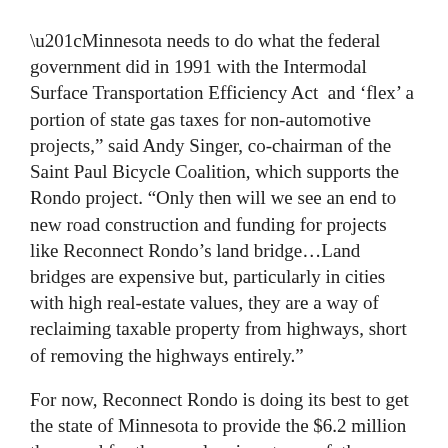“Minnesota needs to do what the federal government did in 1991 with the Intermodal Surface Transportation Efficiency Act  and ‘flex’ a portion of state gas taxes for non-automotive projects,” said Andy Singer, co-chairman of the Saint Paul Bicycle Coalition, which supports the Rondo project. “Only then will we see an end to new road construction and funding for projects like Reconnect Rondo’s land bridge...Land bridges are expensive but, particularly in cities with high real-estate values, they are a way of reclaiming taxable property from highways, short of removing the highways entirely.”
For now, Reconnect Rondo is doing its best to get the state of Minnesota to provide the $6.2 million they need for the pre-planning stages of  the project — even as it recognizes that the project is an odd fit for an agency more accustomed to laying pavement than blazing trails in restorative justice.